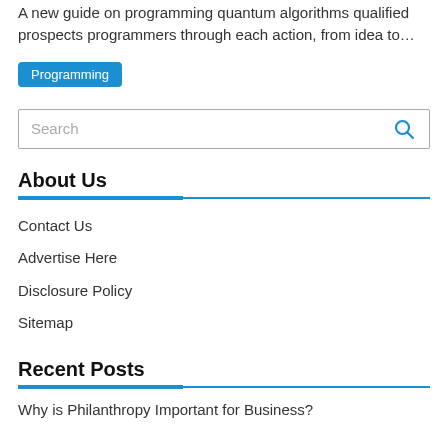A new guide on programming quantum algorithms qualified prospects programmers through each action, from idea to…
Programming
Search
About Us
Contact Us
Advertise Here
Disclosure Policy
Sitemap
Recent Posts
Why is Philanthropy Important for Business?